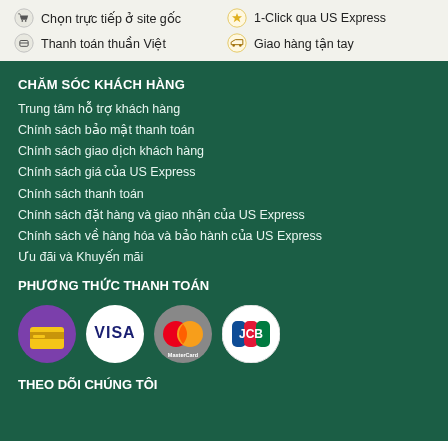Chọn trực tiếp ở site gốc  |  1-Click qua US Express
Thanh toán thuần Việt  |  Giao hàng tận tay
CHĂM SÓC KHÁCH HÀNG
Trung tâm hỗ trợ khách hàng
Chính sách bảo mật thanh toán
Chính sách giao dịch khách hàng
Chính sách giá của US Express
Chính sách thanh toán
Chính sách đặt hàng và giao nhận của US Express
Chính sách về hàng hóa và bảo hành của US Express
Ưu đãi và Khuyến mãi
PHƯƠNG THỨC THANH TOÁN
[Figure (logo): Payment method icons: purple card/cash icon, VISA, MasterCard, JCB]
THEO DÕI CHÚNG TÔI